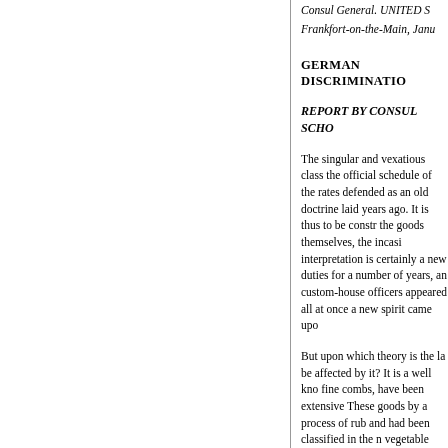Consul General. UNITED S
Frankfort-on-the-Main, Janu
GERMAN DISCRIMINATIO
REPORT BY CONSUL SCHO
The singular and vexatious class the official schedule of the rates defended as an old doctrine laid years ago. It is thus to be constr the goods themselves, the incasi interpretation is certainly a new duties for a number of years, an custom-house officers appeared all at once a new spirit came up
But upon which theory is the la be affected by it? It is a well kno fine combs, have been extensive These goods by a process of rub and had been classified in the n vegetable and animal carved ma duty of 30 marks ($7.14) per 10